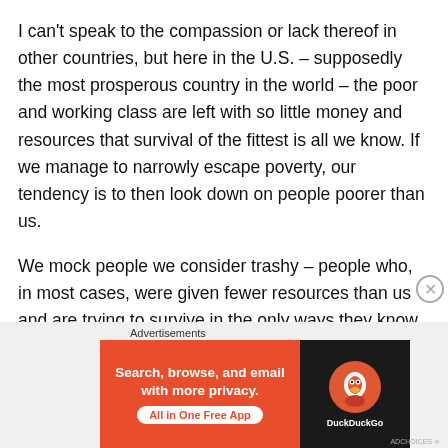I can't speak to the compassion or lack thereof in other countries, but here in the U.S. – supposedly the most prosperous country in the world – the poor and working class are left with so little money and resources that survival of the fittest is all we know. If we manage to narrowly escape poverty, our tendency is to then look down on people poorer than us.
We mock people we consider trashy – people who, in most cases, were given fewer resources than us and are trying to survive in the only ways they know how to. We look away from impoverished and oppressed countries, deciding not to care about the gross violations of human
Advertisements
[Figure (other): DuckDuckGo advertisement banner: orange left panel with bold white text 'Search, browse, and email with more privacy.' and white pill button 'All in One Free App', black right panel with DuckDuckGo duck logo and brand name.]